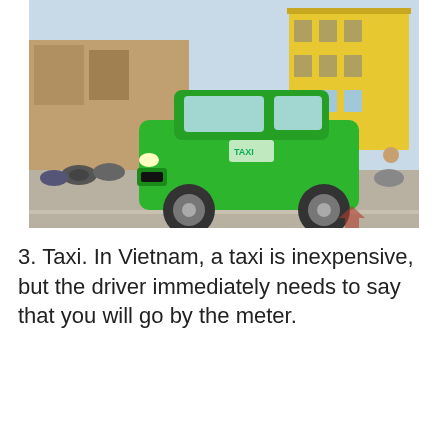[Figure (photo): A green Toyota taxi/minivan on a street in Vietnam, with motorcycles and yellow colonial buildings in the background.]
3. Taxi. In Vietnam, a taxi is inexpensive, but the driver immediately needs to say that you will go by the meter.
Search for
1. ALL INCLUSIVE RESORTS →
2. TOP 10 BEACHES IN FLORIDA →
Yahoo! Search | Sponsored